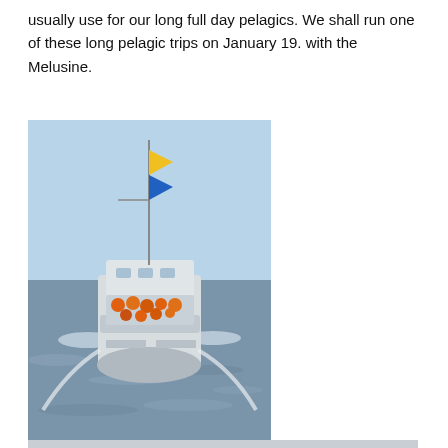usually use for our long full day pelagics. We shall run one of these long pelagic trips on January 19. with the Melusine.
[Figure (photo): A white boat (the Melusine) seen from behind, moving through the ocean. Passengers wearing orange life vests are visible on the rear deck. A flag is mounted on the mast. The sea is calm and the sky is clear and light blue.]
[Figure (photo): A wide, mostly grey-white overcast sky with a calm, flat sea visible at the bottom. Minimal detail — appears to be an open ocean horizon shot.]